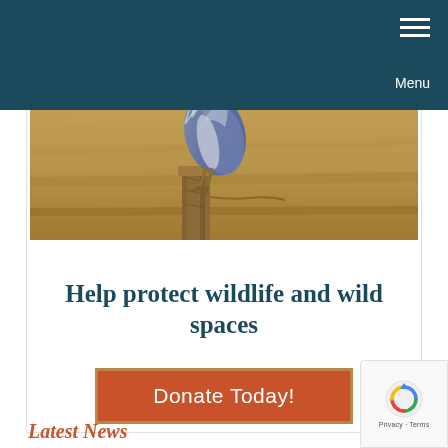Menu
[Figure (photo): A great blue heron perched on a weathered wooden post, with a blurred golden-brown natural background. The bird's blue-grey plumage and long neck feathers are visible.]
Help protect wildlife and wild spaces
Donate Today!
Latest News